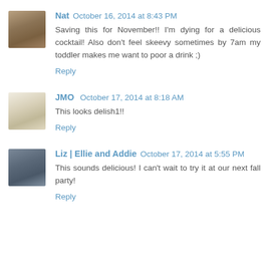Nat  October 16, 2014 at 8:43 PM
Saving this for November!! I'm dying for a delicious cocktail! Also don't feel skeevy sometimes by 7am my toddler makes me want to poor a drink ;)
Reply
JMO  October 17, 2014 at 8:18 AM
This looks delish1!!
Reply
Liz | Ellie and Addie  October 17, 2014 at 5:55 PM
This sounds delicious! I can't wait to try it at our next fall party!
Reply